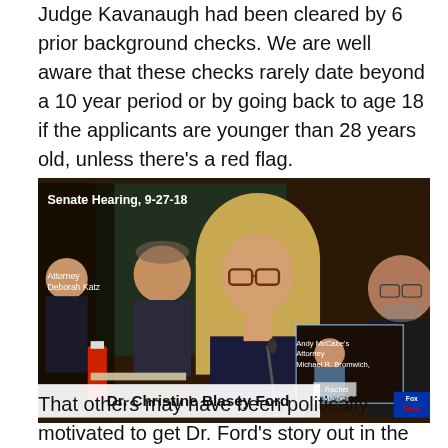Judge Kavanaugh had been cleared by 6 prior background checks. We are well aware that these checks rarely date beyond a 10 year period or by going back to age 18 if the applicants are younger than 28 years old, unless there's a red flag.
[Figure (photo): Senate Hearing 9-27-18 screenshot showing Dr. Christine Blasey Ford testifying, with Attorney Deborah Katz to the left, Andy McCabe's Attorney Michael R. Bromwich on the right, and a picture-in-picture of Rachel Mitchell. Fox News chyron at bottom reads 'Dr. Christine Blasey Ford'.]
That others may have been politically motivated to get Dr. Ford's story out in the public sphere, does not make her